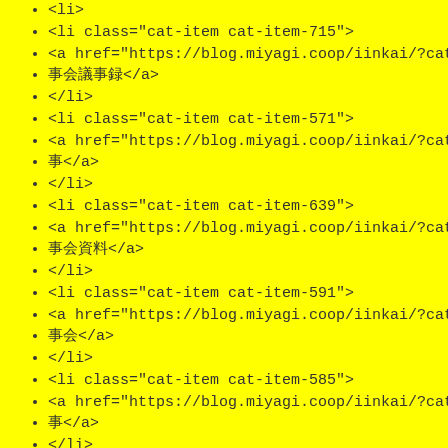<li>
<li class="cat-item cat-item-715">
<a href="https://blog.miyagi.coop/iinkai/?cat=715">理事会議事録</a>
</li>
<li class="cat-item cat-item-571">
<a href="https://blog.miyagi.coop/iinkai/?cat=571">理事​</a>
</li>
<li class="cat-item cat-item-639">
<a href="https://blog.miyagi.coop/iinkai/?cat=639">理事会資料</a>
</li>
<li class="cat-item cat-item-591">
<a href="https://blog.miyagi.coop/iinkai/?cat=591">理事会</a>
</li>
<li class="cat-item cat-item-585">
<a href="https://blog.miyagi.coop/iinkai/?cat=585">理事​</a>
</li>
<li class="cat-item cat-item-589">
<a href="https://blog.miyagi.coop/iinkai/?cat=589">理事​</a>
Posted in 理事会議事録